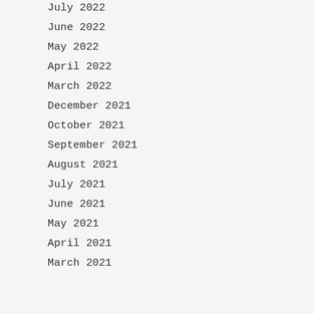July 2022
June 2022
May 2022
April 2022
March 2022
December 2021
October 2021
September 2021
August 2021
July 2021
June 2021
May 2021
April 2021
March 2021